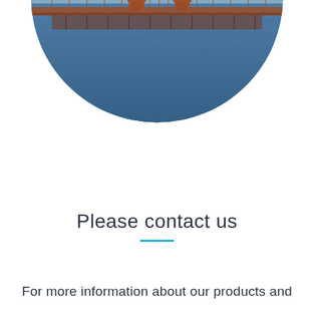[Figure (photo): Circular cropped aerial photo of the Golden Gate Bridge in San Francisco, showing the iconic red-orange suspension towers and cables over blue water, viewed from above.]
Please contact us
For more information about our products and